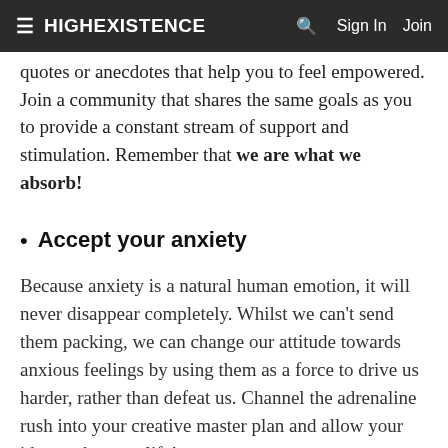≡  HIGHEXISTENCE    🔍  Sign In  Join
quotes or anecdotes that help you to feel empowered. Join a community that shares the same goals as you to provide a constant stream of support and stimulation. Remember that we are what we absorb!
Accept your anxiety
Because anxiety is a natural human emotion, it will never disappear completely. Whilst we can't send them packing, we can change our attitude towards anxious feelings by using them as a force to drive us harder, rather than defeat us. Channel the adrenaline rush into your creative master plan and allow your ideas to burst to life!